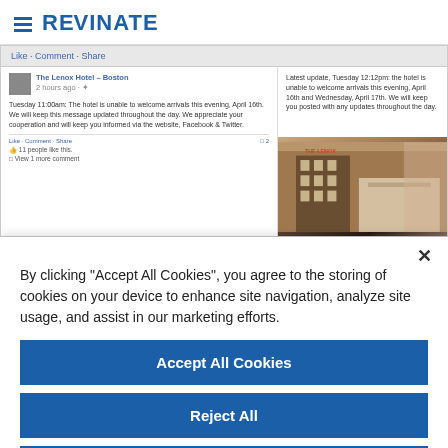[Figure (logo): Revinate logo with hamburger menu icon and bold blue REVINATE text]
[Figure (screenshot): Screenshot of a Facebook page for The Lenox Hotel - Boston showing crisis communication posts about hotel being unable to welcome arrivals on April 16th and 17th, with a hotel building photo]
By clicking "Accept All Cookies", you agree to the storing of cookies on your device to enhance site navigation, analyze site usage, and assist in our marketing efforts.
Accept All Cookies
Reject All
Cookies Settings